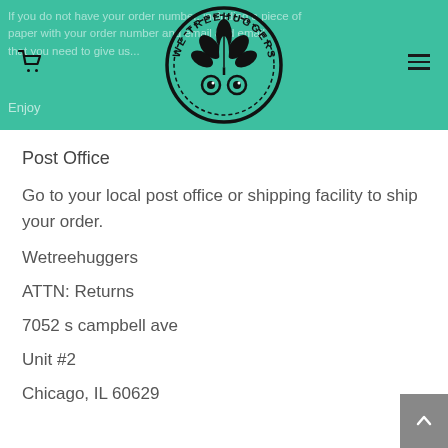If you do not have your order number, including a piece of paper with your order number and email that you need to give us...
[Figure (logo): We Treehuggers circular logo with cannabis leaf and cartoon eyes]
Enjoy
Post Office
Go to your local post office or shipping facility to ship your order.
Wetreehuggers
ATTN: Returns
7052 s campbell ave
Unit #2
Chicago, IL 60629